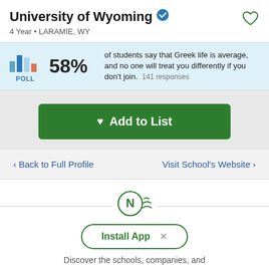University of Wyoming
4 Year • LARAMIE, WY
58% of students say that Greek life is average, and no one will treat you differently if you don't join. 141 responses
♥ Add to List
‹ Back to Full Profile
Visit School's Website ›
Install App
Discover the schools, companies, and